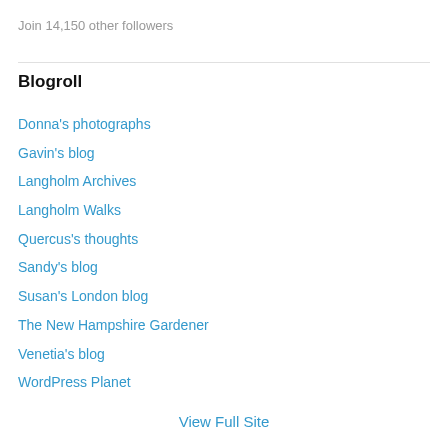Join 14,150 other followers
Blogroll
Donna's photographs
Gavin's blog
Langholm Archives
Langholm Walks
Quercus's thoughts
Sandy's blog
Susan's London blog
The New Hampshire Gardener
Venetia's blog
WordPress Planet
View Full Site